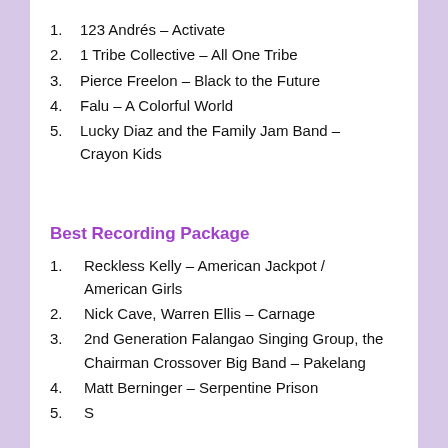1. 123 Andrés – Activate
2. 1 Tribe Collective – All One Tribe
3. Pierce Freelon – Black to the Future
4. Falu – A Colorful World
5. Lucky Diaz and the Family Jam Band – Crayon Kids
Best Recording Package
1. Reckless Kelly – American Jackpot / American Girls
2. Nick Cave, Warren Ellis – Carnage
3. 2nd Generation Falangao Singing Group, the Chairman Crossover Big Band – Pakelang
4. Matt Berninger – Serpentine Prison
5. (partially visible)